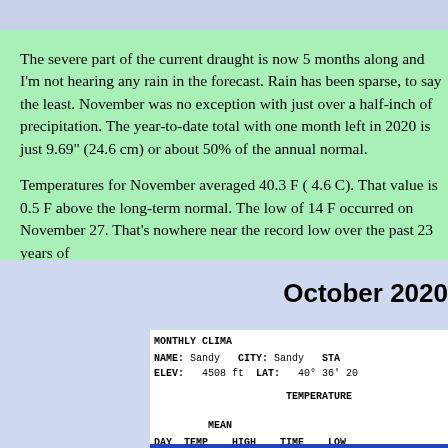The severe part of the current draught is now 5 months along and I'm not hearing any rain in the forecast. Rain has been sparse, to say the least. November was no exception with just over a half-inch of precipitation. The year-to-date total with one month left in 2020 is just 9.69" (24.6 cm) or about 50% of the annual normal.
Temperatures for November averaged 40.3 F ( 4.6 C). That value is 0.5 F above the long-term normal. The low of 14 F occurred on November 27. That's nowhere near the record low over the past 23 years of
October 2020
| MONTHLY CLIMA | NAME: Sandy | CITY: Sandy | STA | ELEV: 4508 ft | LAT: 40° 36' 20 | TEMPERATURE | MEAN | DAY | TEMP | HIGH | TIME | LOW |
| --- | --- | --- | --- | --- | --- | --- | --- | --- | --- | --- | --- | --- |